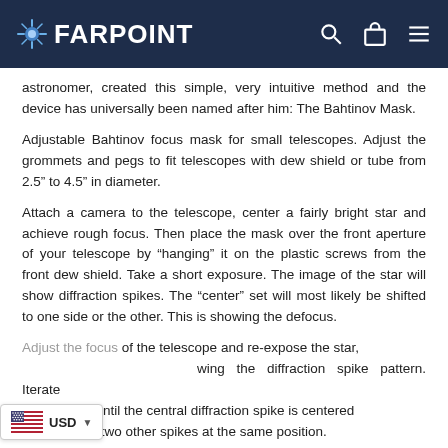FARPOINT
astronomer, created this simple, very intuitive method and the device has universally been named after him: The Bahtinov Mask.
Adjustable Bahtinov focus mask for small telescopes. Adjust the grommets and pegs to fit telescopes with dew shield or tube from 2.5″ to 4.5″ in diameter.
Attach a camera to the telescope, center a fairly bright star and achieve rough focus. Then place the mask over the front aperture of your telescope by "hanging" it on the plastic screws from the front dew shield. Take a short exposure. The image of the star will show diffraction spikes. The "center" set will most likely be shifted to one side or the other. This is showing the defocus.
Adjust the focus of the telescope and re-expose the star, wing the diffraction spike pattern. Iterate the process until the central diffraction spike is centered and both the two other spikes at the same position.